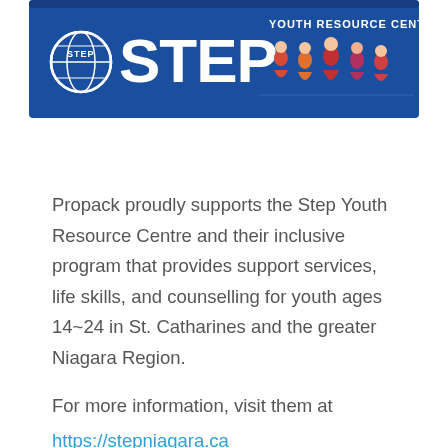[Figure (illustration): STEP Youth Resource Centre banner with blue background, globe logo, large white STEP text, and illustrated youth figures on the right side]
Propack proudly supports the Step Youth Resource Centre and their inclusive program that provides support services, life skills, and counselling for youth ages 14~24 in St. Catharines and the greater Niagara Region.
For more information, visit them at https://stepniagara.ca